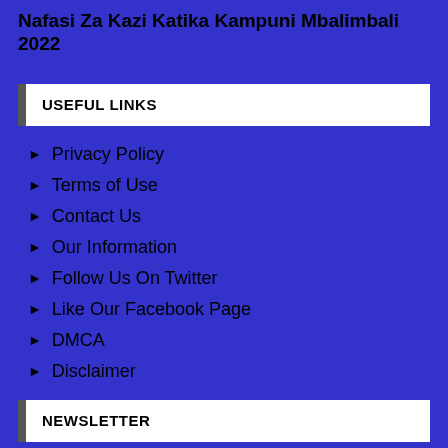Nafasi Za Kazi Katika Kampuni Mbalimbali 2022
USEFUL LINKS
Privacy Policy
Terms of Use
Contact Us
Our Information
Follow Us On Twitter
Like Our Facebook Page
DMCA
Disclaimer
NEWSLETTER